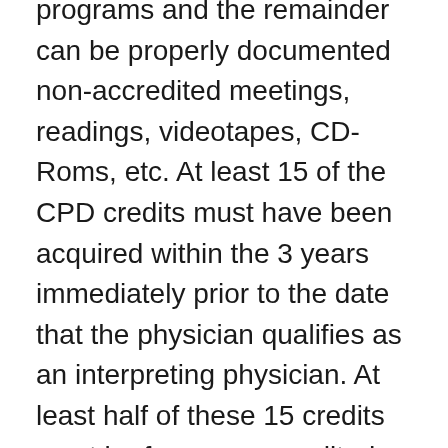programs and the remainder can be properly documented non-accredited meetings, readings, videotapes, CD-Roms, etc. At least 15 of the CPD credits must have been acquired within the 3 years immediately prior to the date that the physician qualifies as an interpreting physician. At least half of these 15 credits must be from an accredited activity. Time spent in residency specifically devoted to mammography is acceptable, if documentation from the training program is supplied by the radiologist;